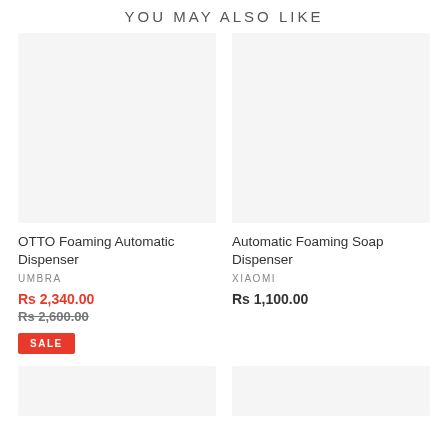YOU MAY ALSO LIKE
[Figure (photo): Product image placeholder for OTTO Foaming Automatic Dispenser - light gray box]
OTTO Foaming Automatic Dispenser
UMBRA
Rs 2,340.00
Rs 2,600.00
SALE
[Figure (photo): Product image placeholder for Automatic Foaming Soap Dispenser - light gray box]
Automatic Foaming Soap Dispenser
XIAOMI
Rs 1,100.00
[Figure (photo): Partial product image placeholder bottom left]
[Figure (photo): Partial product image placeholder bottom right]